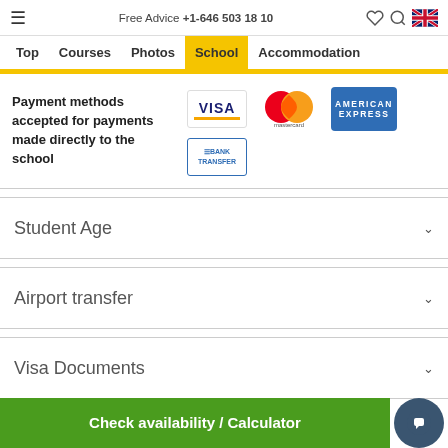Free Advice +1-646 503 18 10
Top | Courses | Photos | School | Accommodation
Payment methods accepted for payments made directly to the school
[Figure (logo): VISA logo]
[Figure (logo): Mastercard logo]
[Figure (logo): American Express logo]
[Figure (logo): Bank Transfer logo]
Student Age
Airport transfer
Visa Documents
Check availability / Calculator